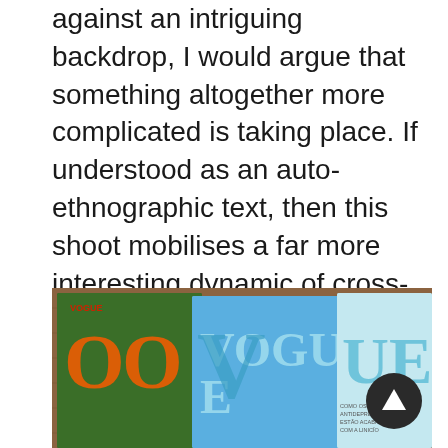against an intriguing backdrop, I would argue that something altogether more complicated is taking place. If understood as an auto-ethnographic text, then this shoot mobilises a far more interesting dynamic of cross-cultural contact between Brazil and the West that warrants further examination, in which Brazil is perhaps no longer subordinate to the West, but instead uses its own cultural productions to subtly fight back.
[Figure (photo): Photograph showing multiple Vogue magazine covers fanned out on a wooden surface, including covers with models and the Vogue logo visible in orange and teal/blue colors.]